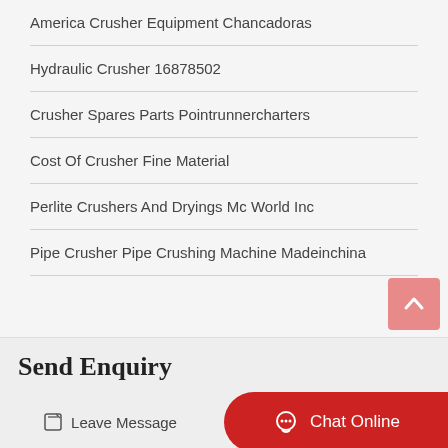America Crusher Equipment Chancadoras
Hydraulic Crusher 16878502
Crusher Spares Parts Pointrunnercharters
Cost Of Crusher Fine Material
Perlite Crushers And Dryings Mc World Inc
Pipe Crusher Pipe Crushing Machine Madeinchina
Send Enquiry
Leave Message
Chat Online